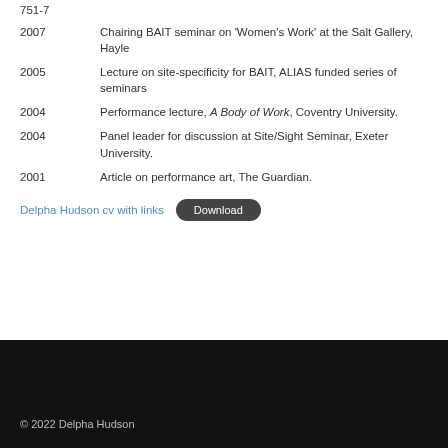751-7
2007	Chairing BAIT seminar on 'Women's Work' at the Salt Gallery, Hayle
2005	Lecture on site-specificity for BAIT, ALIAS funded series of seminars
2004	Performance lecture, A Body of Work, Coventry University.
2004	Panel leader for discussion at Site/Sight Seminar, Exeter University.
2001	Article on performance art, The Guardian.
Delpha Hudson cv with links   Download
© 2022 Delpha Hudson